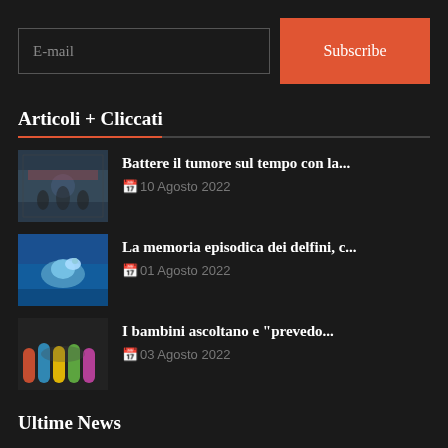E-mail
Subscribe
Articoli + Cliccati
[Figure (photo): Thumbnail image of people in what appears to be a medical or scientific setting]
Battere il tumore sul tempo con la...
🗓 10 Agosto 2022
[Figure (photo): Thumbnail image of a dolphin underwater]
La memoria episodica dei delfini, c...
🗓 01 Agosto 2022
[Figure (photo): Thumbnail image of children's colorful hands together]
I bambini ascoltano e "prevedo...
🗓 03 Agosto 2022
Ultime News